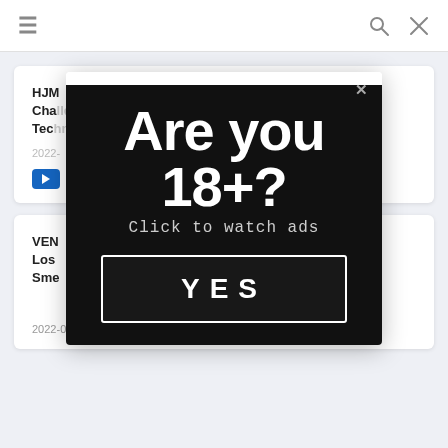≡  🔍  ✕
HJM... Wife Cha llenge: When Mao Hamastaki's Awesome Tec hnology...
2022-...
VEN... who Los... ent Sme...
2022-08-16
[Figure (screenshot): Age verification modal popup with black background. Large bold white text reads 'Are you 18+?' with subtitle 'Click to watch ads' and a YES button with white border.]